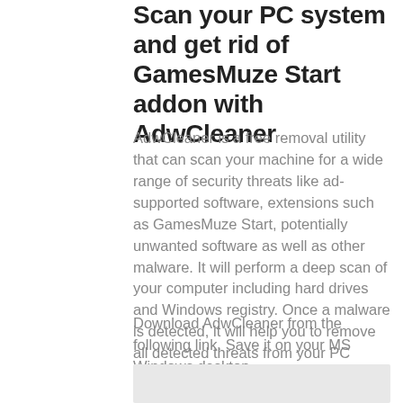Scan your PC system and get rid of GamesMuze Start addon with AdwCleaner
AdwCleaner is a free removal utility that can scan your machine for a wide range of security threats like ad-supported software, extensions such as GamesMuze Start, potentially unwanted software as well as other malware. It will perform a deep scan of your computer including hard drives and Windows registry. Once a malware is detected, it will help you to remove all detected threats from your PC system with a simple click.
Download AdwCleaner from the following link. Save it on your MS Windows desktop.
[Figure (screenshot): AdwCleaner download button or screenshot placeholder]